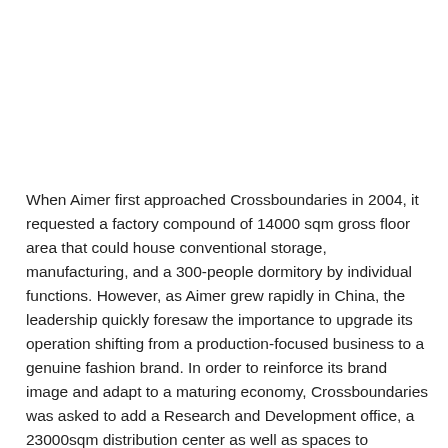When Aimer first approached Crossboundaries in 2004, it requested a factory compound of 14000 sqm gross floor area that could house conventional storage, manufacturing, and a 300-people dormitory by individual functions. However, as Aimer grew rapidly in China, the leadership quickly foresaw the importance to upgrade its operation shifting from a production-focused business to a genuine fashion brand. In order to reinforce its brand image and adapt to a maturing economy, Crossboundaries was asked to add a Research and Development office, a 23000sqm distribution center as well as spaces to showcase its products. The realized facility of